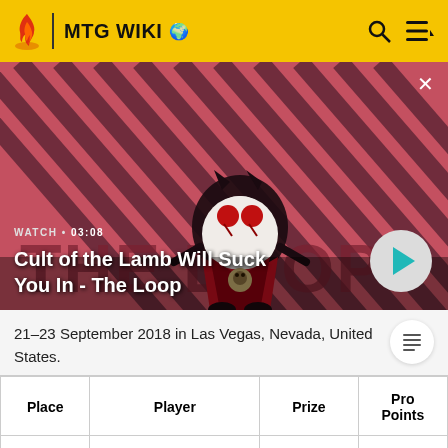MTG WIKI
[Figure (screenshot): Video thumbnail showing 'Cult of the Lamb Will Suck You In - The Loop', a stylized cartoon lamb character with devil horns on a diagonal stripe background. Watch time 03:08 shown.]
21–23 September 2018 in Las Vegas, Nevada, United States.
| Place | Player | Prize | Pro Points |
| --- | --- | --- | --- |
|  |  |  |  |